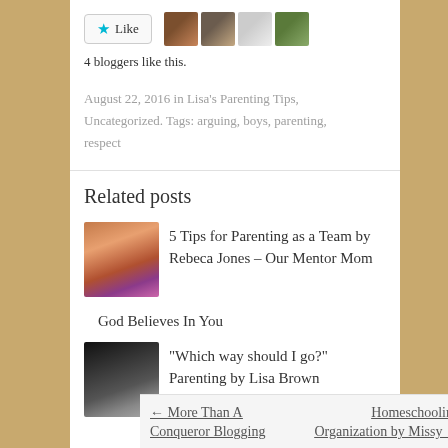[Figure (other): Like button with star icon and 4 blogger avatar thumbnails]
4 bloggers like this.
August 22, 2016 in Lisa's Parenting Tips, Uncategorized. Tags: arguing, boys, parenting, respect
Related posts
[Figure (photo): Thumbnail photo of woman with red hair]
5 Tips for Parenting as a Team by Rebeca Jones – Our Mentor Mom
God Believes In You
[Figure (photo): Thumbnail dark photo of child]
“Which way should I go?” Parenting by Lisa Brown
← More Than A Conqueror Blogging    Homeschooling Organization by Missy →